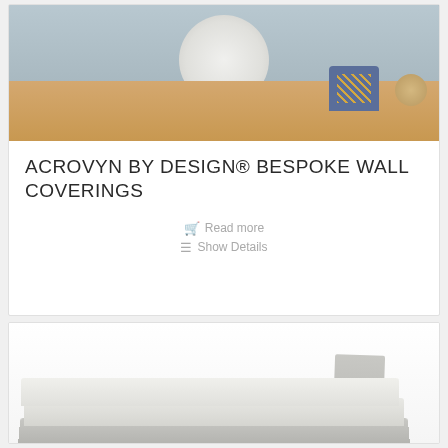[Figure (photo): Interior lounge area with patterned blue chair, round wooden stool, herringbone wood floor, and white circular design element on the floor]
ACROVYN BY DESIGN® BESPOKE WALL COVERINGS
Read more
Show Details
[Figure (photo): Stack of folded white and grey linens or fabric samples photographed on a white background]